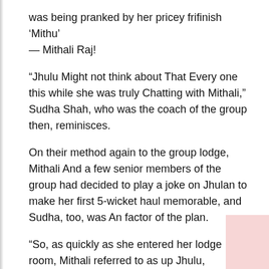was being pranked by her pricey frifinish ‘Mithu’ — Mithali Raj!
“Jhulu Might not think about That Every one this while she was truly Chatting with Mithali,” Sudha Shah, who was the coach of the group then, reminisces.
On their method again to the group lodge, Mithali And a few senior members of the group had decided to play a joke on Jhulan to make her first 5-wicket haul memorable, and Sudha, too, was An factor of the plan.
“So, as quickly as she entered her lodge room, Mithali referred to as up Jhulu, claiming to be a BBC correspondent. Back in these days, the